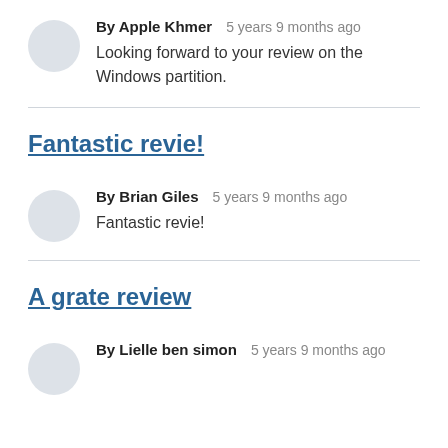By Apple Khmer  5 years 9 months ago
Looking forward to your review on the Windows partition.
Fantastic revie!
By Brian Giles  5 years 9 months ago
Fantastic revie!
A grate review
By Lielle ben simon  5 years 9 months ago